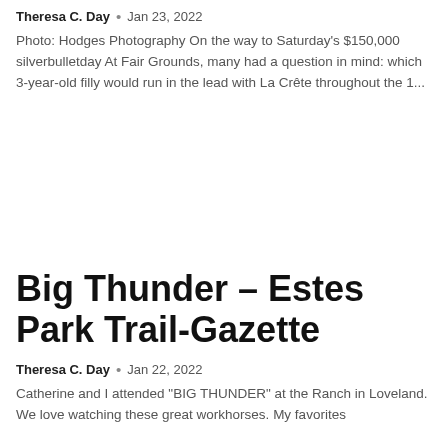Theresa C. Day • Jan 23, 2022
Photo: Hodges Photography On the way to Saturday's $150,000 silverbulletday At Fair Grounds, many had a question in mind: which 3-year-old filly would run in the lead with La Crête throughout the 1...
Big Thunder – Estes Park Trail-Gazette
Theresa C. Day • Jan 22, 2022
Catherine and I attended "BIG THUNDER" at the Ranch in Loveland. We love watching these great workhorses. My favorites